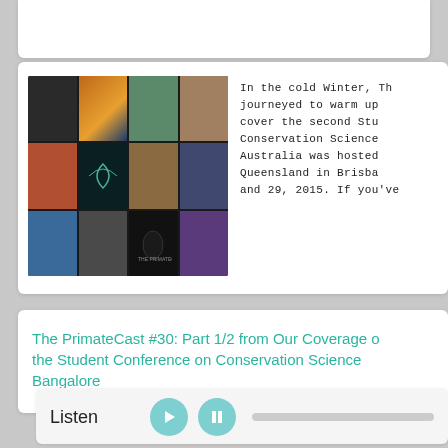[Figure (photo): Collage thumbnail image showing multiple people and a primate cast logo on a dark background]
In the cold Winter, Th journeyed to warm up cover the second Stu Conservation Science Australia was hosted Queensland in Brisba and 29, 2015. If you've
The PrimateCast #30: Part 1/2 from Our Coverage of the Student Conference on Conservation Science Bangalore
Listen